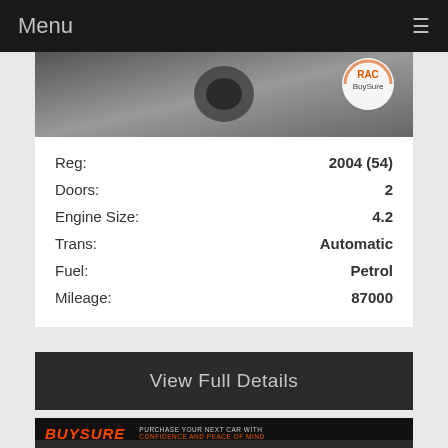Menu
[Figure (photo): Car wheel/alloy detail photo with RAC BuySure badge overlay in top right corner]
| Field | Value |
| --- | --- |
| Reg: | 2004 (54) |
| Doors: | 2 |
| Engine Size: | 4.2 |
| Trans: | Automatic |
| Fuel: | Petrol |
| Mileage: | 87000 |
View Full Details
[Figure (infographic): BuySure banner: orange BUYSURE logo on dark background with text PURCHASE YOUR NEXT CAR WITH CONFIDENCE AND PEACE OF MIND and car image on right]
BMW 4 SERIES 420D M SPORT ** M SPORT PLUS PACKAGE** PRO MEDIA